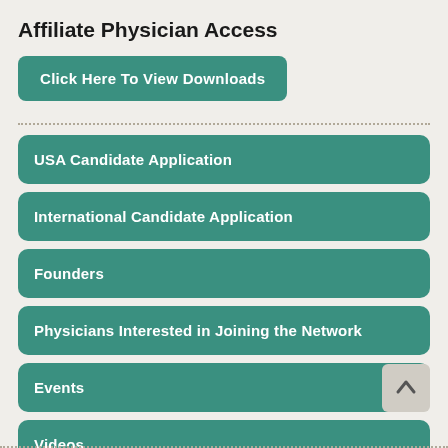Affiliate Physician Access
Click Here To View Downloads
USA Candidate Application
International Candidate Application
Founders
Physicians Interested in Joining the Network
Events
Videos
CSN Publications